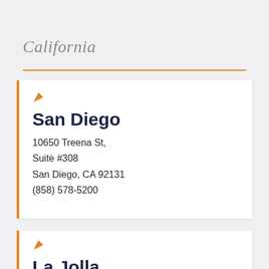California
San Diego
10650 Treena St,
Suite #308
San Diego, CA 92131
(858) 578-5200
La Jolla